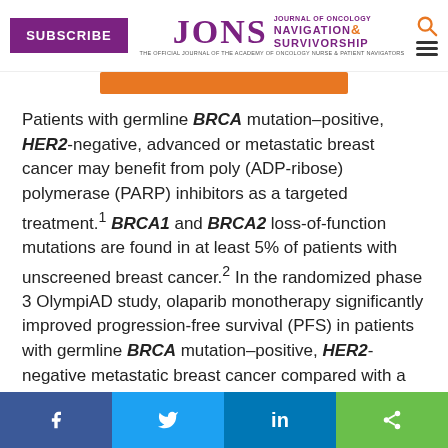SUBSCRIBE | JONS Journal of Oncology Navigation & Survivorship
Patients with germline BRCA mutation–positive, HER2-negative, advanced or metastatic breast cancer may benefit from poly (ADP-ribose) polymerase (PARP) inhibitors as a targeted treatment.1 BRCA1 and BRCA2 loss-of-function mutations are found in at least 5% of patients with unscreened breast cancer.2 In the randomized phase 3 OlympiAD study, olaparib monotherapy significantly improved progression-free survival (PFS) in patients with germline BRCA mutation–positive, HER2-negative metastatic breast cancer compared with a chemotherapy treatment of the physician's choice.1
Facebook | Twitter | LinkedIn | Share